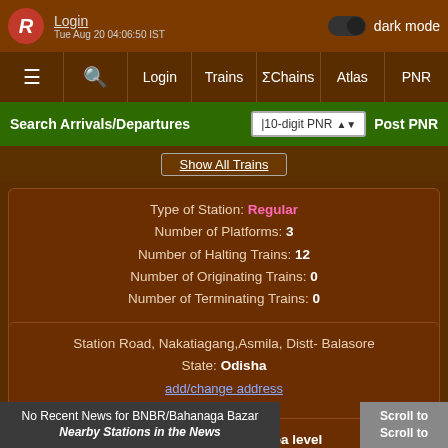Login  dark mode  Tue Aug 20 04:06:50 IST
≡  🔍  Login  Trains  ΣChains  Atlas  PNR
Search Arrivals/Departures  10-digit PNR  Post PNR
Show All Trains
Type of Station: Regular
Number of Platforms: 3
Number of Halting Trains: 12
Number of Originating Trains: 0
Number of Terminating Trains: 0
Station Road, Nakatiagang,Asmila, Distt- Balasore
State: Odisha
add/change address
Elevation: 19 m above sea level
Zone: SER/South Eastern
Division: Kharagpur
No Recent News for BNBR/Bahanaga Bazar
Nearby Stations in the News
Scroll to
Scroll to